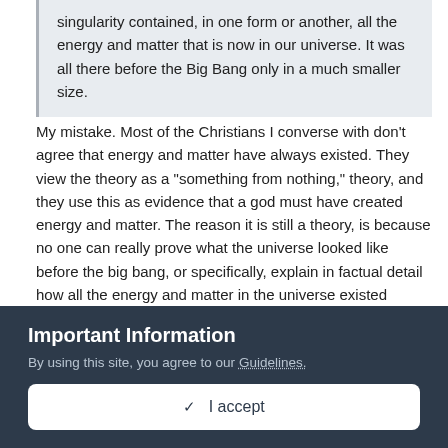singularity contained, in one form or another, all the energy and matter that is now in our universe. It was all there before the Big Bang only in a much smaller size.
My mistake. Most of the Christians I converse with don't agree that energy and matter have always existed. They view the theory as a "something from nothing," theory, and they use this as evidence that a god must have created energy and matter. The reason it is still a theory, is because no one can really prove what the universe looked like before the big bang, or specifically, explain in factual detail how all the energy and matter in the universe existed before the big bang in so little space.
My point was in the faith department. Science is in the business of factually explaining our world. Where science falls short it
Important Information
By using this site, you agree to our Guidelines.
✓  I accept